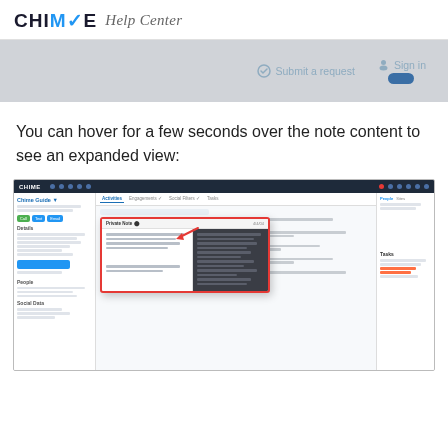CHIME Help Center
[Figure (screenshot): Gray banner area with 'Submit a request' button icon and 'Sign in' link with user avatar icon and toggle button]
You can hover for a few seconds over the note content to see an expanded view:
[Figure (screenshot): Chime CRM interface screenshot showing contact detail page with notes feed and a popup overlay with expanded note content (dark background on right side of popup), with a red arrow pointing to the popup and a red border around the popup]